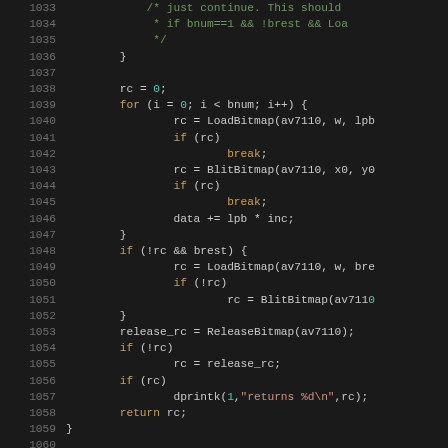[Figure (screenshot): Source code viewer showing C code lines 1033-1062, dark background syntax-highlighted code editor view. Shows a function with LoadBitmap, BlitBitmap, ReleaseBitmap calls and a new function declaration av7110_osd_cmd.]